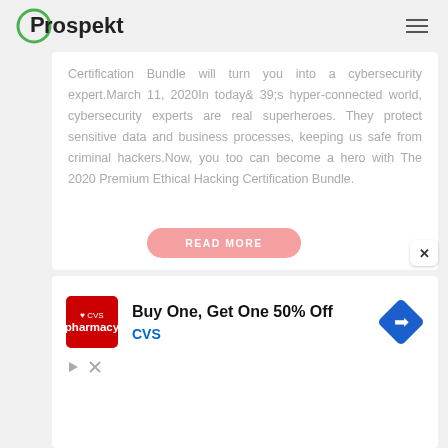[Figure (logo): Prospekt logo with green circle and text]
Certification Bundle will turn you into a cybersecurity expert.March 11, 2020In today& 39;s hyper-connected world, cybersecurity experts are real superheroes. They protect sensitive data and business processes, keeping us safe from criminal hackers.Now, you too can become a hero with The 2020 Premium Ethical Hacking Certification Bundle.
[Figure (screenshot): READ MORE button — pink rounded pill button]
[Figure (infographic): CVS Pharmacy advertisement: Buy One, Get One 50% Off CVS, with CVS logo and navigation diamond icon]